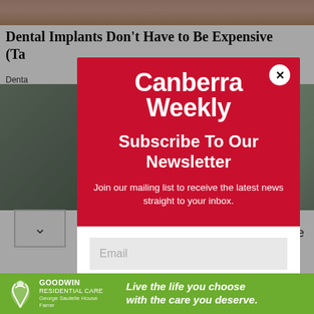[Figure (screenshot): Background webpage showing partial dental implant article headline and photos, partially obscured by modal overlay]
Canberra Weekly
Subscribe To Our Newsletter
Join our mailing list to receive the latest news straight to your inbox.
Email
SUBSCRIBE!
[Figure (infographic): Goodwin Residential Care advertisement banner in green. Logo with swan and text 'GOODWIN RESIDENTIAL CARE George Sautelle House Farrer'. Slogan: Live the life you choose with the care you deserve.]